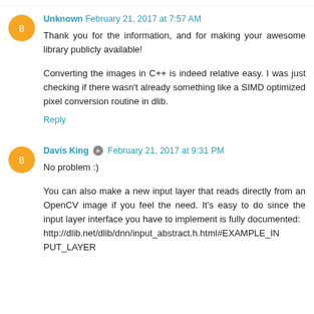Unknown  February 21, 2017 at 7:57 AM
Thank you for the information, and for making your awesome library publicly available!
Converting the images in C++ is indeed relative easy. I was just checking if there wasn't already something like a SIMD optimized pixel conversion routine in dlib.
Reply
Davis King  February 21, 2017 at 9:31 PM
No problem :)
You can also make a new input layer that reads directly from an OpenCV image if you feel the need. It's easy to do since the input layer interface you have to implement is fully documented: http://dlib.net/dlib/dnn/input_abstract.h.html#EXAMPLE_INPUT_LAYER